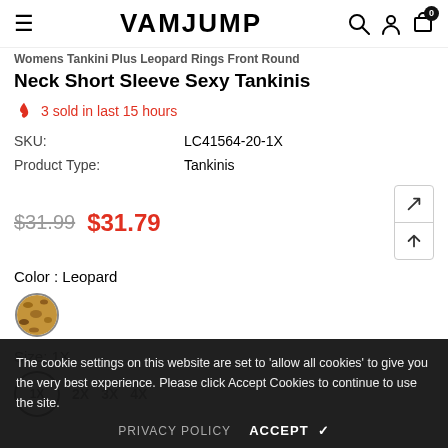VAMJUMP
Womens Tankini Plus Leopard Rings Front Round Neck Short Sleeve Sexy Tankinis
3 sold in last 15 hours
| Field | Value |
| --- | --- |
| SKU: | LC41564-20-1X |
| Product Type: | Tankinis |
$31.99  $31.79
Color : Leopard
Size: 1X
1X  2X  3X  4X
The cookie settings on this website are set to 'allow all cookies' to give you the very best experience. Please click Accept Cookies to continue to use the site.
PRIVACY POLICY  ACCEPT ✓